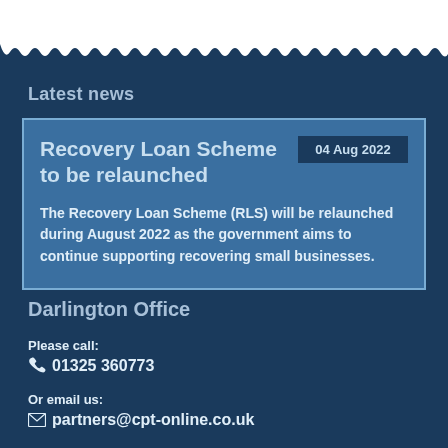Latest news
Recovery Loan Scheme to be relaunched
04 Aug 2022
The Recovery Loan Scheme (RLS) will be relaunched during August 2022 as the government aims to continue supporting recovering small businesses.
Darlington Office
Please call:
01325 360773
Or email us:
partners@cpt-online.co.uk